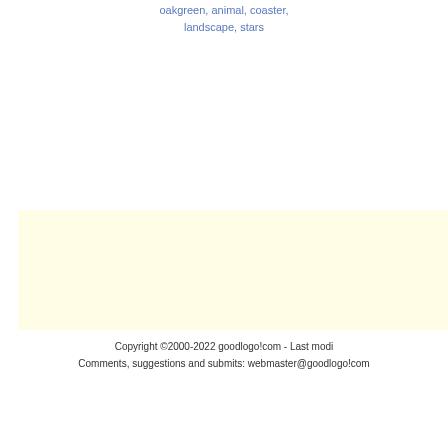oakgreen, animal, coaster, landscape, stars
[Figure (other): Light yellow/cream colored rectangular banner or advertisement area]
Copyright ©2000-2022 goodlogo!com - Last mod... Comments, suggestions and submits: webmaster@goodlogo!com